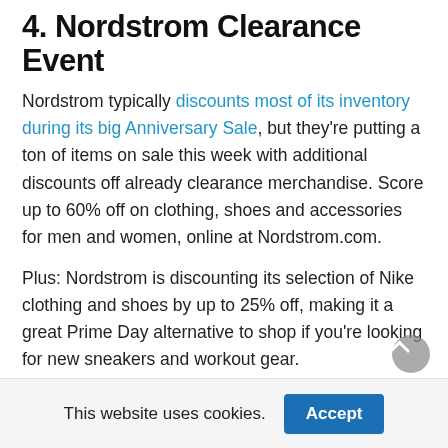4. Nordstrom Clearance Event
Nordstrom typically discounts most of its inventory during its big Anniversary Sale, but they're putting a ton of items on sale this week with additional discounts off already clearance merchandise. Score up to 60% off on clothing, shoes and accessories for men and women, online at Nordstrom.com.
Plus: Nordstrom is discounting its selection of Nike clothing and shoes by up to 25% off, making it a great Prime Day alternative to shop if you're looking for new sneakers and workout gear.
The deals extend to grooming and beauty products, kids clothing and home goods too. See the best deals here on
This website uses cookies. Accept